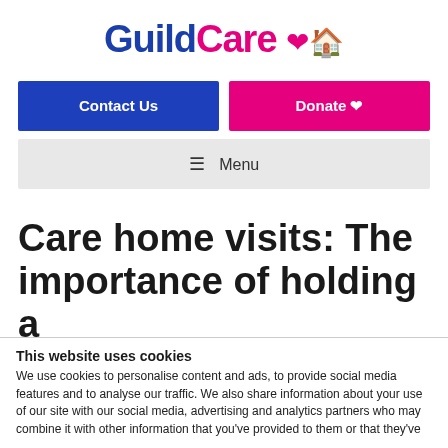[Figure (logo): GuildCare logo with heart and house icons in blue and pink]
Contact Us
Donate ♥
≡ Menu
Care home visits: The importance of holding a
This website uses cookies
We use cookies to personalise content and ads, to provide social media features and to analyse our traffic. We also share information about your use of our site with our social media, advertising and analytics partners who may combine it with other information that you've provided to them or that they've